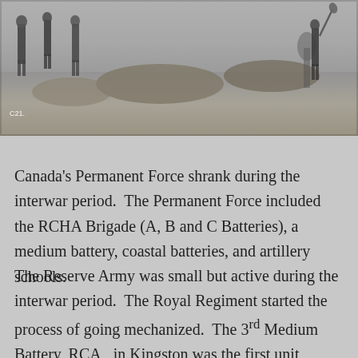[Figure (photo): Black and white historical photograph showing soldiers or workers in an outdoor field setting, with figures visible and dirt/earthwork in background. Label 'C21.' visible in lower left of photo.]
Canada's Permanent Force shrank during the interwar period.  The Permanent Force included the RCHA Brigade (A, B and C Batteries), a medium battery, coastal batteries, and artillery schools.
The Reserve Army was small but active during the interwar period.  The Royal Regiment started the process of going mechanized.  The 3rd Medium Battery, RCA,  in Kingston was the first unit mechanized, receiving four 6-wheeled Leyland tractors in 1929.